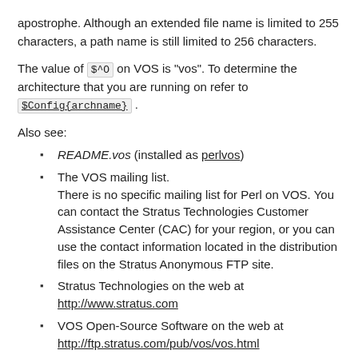apostrophe. Although an extended file name is limited to 255 characters, a path name is still limited to 256 characters.
The value of $^O on VOS is "vos". To determine the architecture that you are running on refer to $Config{archname} .
Also see:
README.vos (installed as perlvos)
The VOS mailing list. There is no specific mailing list for Perl on VOS. You can contact the Stratus Technologies Customer Assistance Center (CAC) for your region, or you can use the contact information located in the distribution files on the Stratus Anonymous FTP site.
Stratus Technologies on the web at http://www.stratus.com
VOS Open-Source Software on the web at http://ftp.stratus.com/pub/vos/vos.html